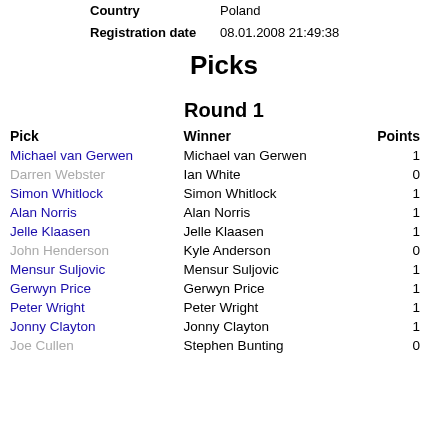Country: Poland
Registration date: 08.01.2008 21:49:38
Picks
Round 1
| Pick | Winner | Points |
| --- | --- | --- |
| Michael van Gerwen | Michael van Gerwen | 1 |
| Darren Webster | Ian White | 0 |
| Simon Whitlock | Simon Whitlock | 1 |
| Alan Norris | Alan Norris | 1 |
| Jelle Klaasen | Jelle Klaasen | 1 |
| John Henderson | Kyle Anderson | 0 |
| Mensur Suljovic | Mensur Suljovic | 1 |
| Gerwyn Price | Gerwyn Price | 1 |
| Peter Wright | Peter Wright | 1 |
| Jonny Clayton | Jonny Clayton | 1 |
| Joe Cullen | Stephen Bunting | 0 |